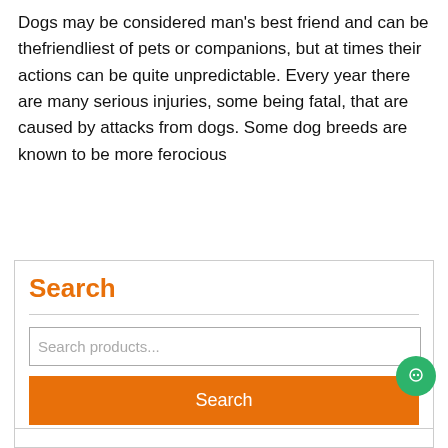Dogs may be considered man's best friend and can be thefriendliest of pets or companions, but at times their actions can be quite unpredictable. Every year there are many serious injuries, some being fatal, that are caused by attacks from dogs. Some dog breeds are known to be more ferocious
READ FULL
Search
Search products...
Search